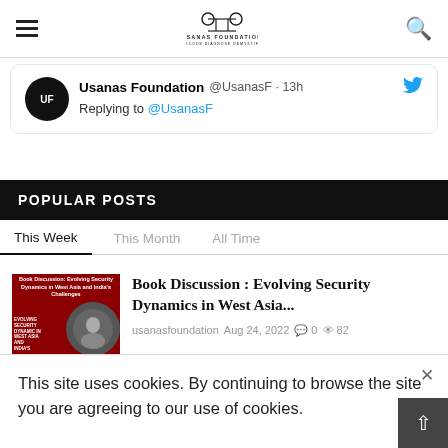USANAS FOUNDATION — DECODE DIAGNOSE DEMYSTIFY
[Figure (screenshot): Tweet card: Usanas Foundation @UsanasF · 13h — Replying to @UsanasF]
POPULAR POSTS
This Week | This Month | All Time
[Figure (photo): Thumbnail image for Book Discussion post]
Book Discussion : Evolving Security Dynamics in West Asia...
usanasfoundation  Aug 24, 2022  0  82
This site uses cookies. By continuing to browse the site you are agreeing to our use of cookies.